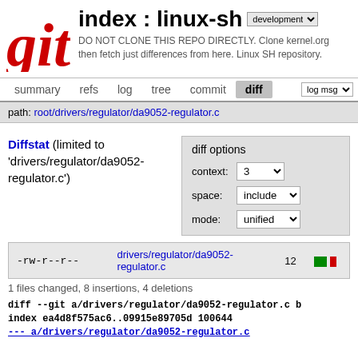[Figure (logo): Git logo - red bold italic 'git' text]
index : linux-sh
DO NOT CLONE THIS REPO DIRECTLY. Clone kernel.org then fetch just differences from here. Linux SH repository.
summary   refs   log   tree   commit   diff   log msg
path: root/drivers/regulator/da9052-regulator.c
Diffstat (limited to 'drivers/regulator/da9052-regulator.c')
diff options
context: 3
space: include
mode: unified
| permissions | file | count | bar |
| --- | --- | --- | --- |
| -rw-r--r-- | drivers/regulator/da9052-regulator.c | 12 |  |
1 files changed, 8 insertions, 4 deletions
diff --git a/drivers/regulator/da9052-regulator.c b/
index ea4d8f575ac6..09915e89705d 100644
--- a/drivers/regulator/da9052-regulator.c